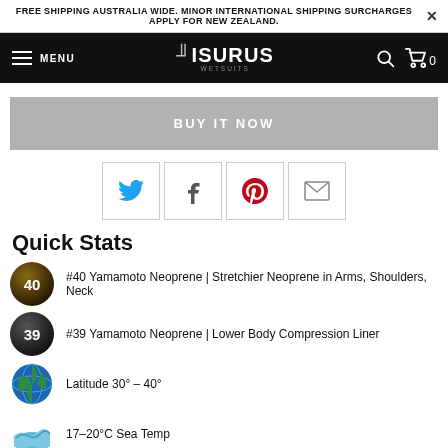FREE SHIPPING AUSTRALIA WIDE. MINOR INTERNATIONAL SHIPPING SURCHARGES APPLY FOR NEW ZEALAND.
[Figure (screenshot): Isurus Wetsuits navigation bar with menu, logo, search and cart icons]
BUY IT NOW
[Figure (infographic): Social share buttons: Twitter, Facebook, Pinterest, Email]
Quick Stats
#40 Yamamoto Neoprene | Stretchier Neoprene in Arms, Shoulders, Neck
#39 Yamamoto Neoprene | Lower Body Compression Liner
Latitude 30° – 40°
17–20°C Sea Temp